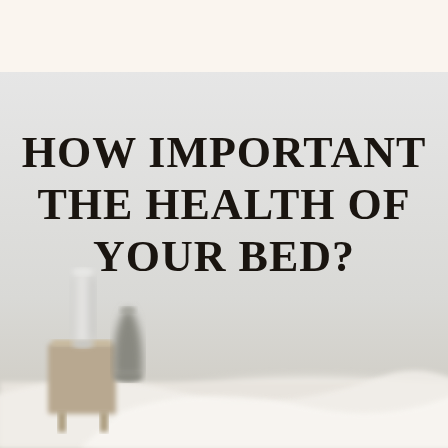[Figure (photo): A bedroom scene with a light grey wall as background. In the center of the wall, large bold uppercase serif text reads 'HOW IMPORTANT IS THE HEALTH OF YOUR BED?' in three lines. At the bottom left, a blurred white lamp and grey vase sit on a wooden nightstand. A white bed with rumpled bedding is visible at the bottom of the frame. The top portion of the image has a light cream/off-white banner area.]